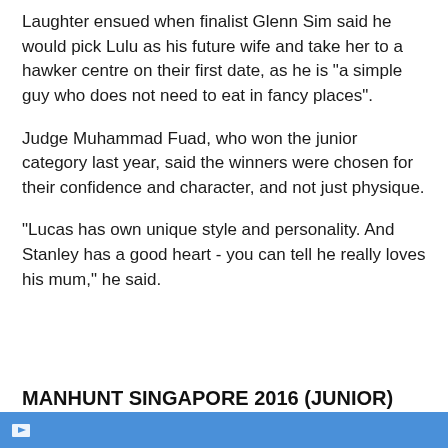Laughter ensued when finalist Glenn Sim said he would pick Lulu as his future wife and take her to a hawker centre on their first date, as he is "a simple guy who does not need to eat in fancy places".
Judge Muhammad Fuad, who won the junior category last year, said the winners were chosen for their confidence and character, and not just physique.
"Lucas has own unique style and personality. And Stanley has a good heart - you can tell he really loves his mum," he said.
MANHUNT SINGAPORE 2016 (JUNIOR)